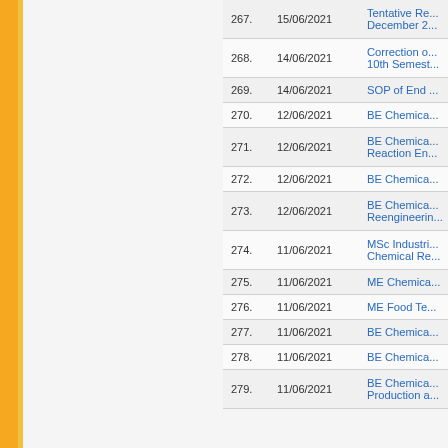| # | Date | Title |
| --- | --- | --- |
| 267. | 15/06/2021 | Tentative Re... December 2... |
| 268. | 14/06/2021 | Correction o... 10th Semest... |
| 269. | 14/06/2021 | SOP of End ... |
| 270. | 12/06/2021 | BE Chemica... |
| 271. | 12/06/2021 | BE Chemica... Reaction En... |
| 272. | 12/06/2021 | BE Chemica... |
| 273. | 12/06/2021 | BE Chemica... Reengineerin... |
| 274. | 11/06/2021 | MSc Industri... Chemical Re... |
| 275. | 11/06/2021 | ME Chemica... |
| 276. | 11/06/2021 | ME Food Te... |
| 277. | 11/06/2021 | BE Chemica... |
| 278. | 11/06/2021 | BE Chemica... |
| 279. | 11/06/2021 | BE Chemica... Production a... |